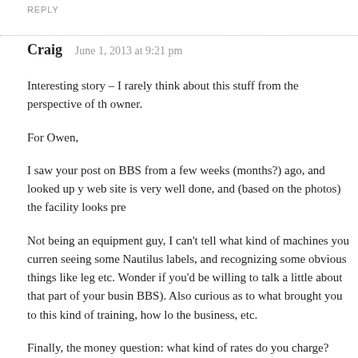REPLY
Craig   June 1, 2013 at 9:21 pm
Interesting story – I rarely think about this stuff from the perspective of the owner.
For Owen,
I saw your post on BBS from a few weeks (months?) ago, and looked up y web site is very well done, and (based on the photos) the facility looks pre
Not being an equipment guy, I can't tell what kind of machines you curren seeing some Nautilus labels, and recognizing some obvious things like leg etc. Wonder if you'd be willing to talk a little about that part of your busin BBS). Also curious as to what brought you to this kind of training, how lo the business, etc.
Finally, the money question: what kind of rates do you charge?